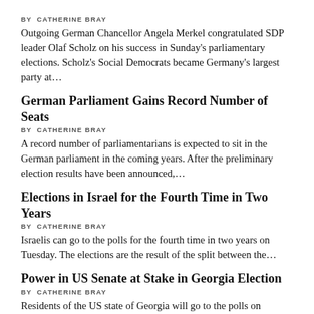BY CATHERINE BRAY
Outgoing German Chancellor Angela Merkel congratulated SDP leader Olaf Scholz on his success in Sunday’s parliamentary elections. Scholz’s Social Democrats became Germany’s largest party at…
German Parliament Gains Record Number of Seats
BY CATHERINE BRAY
A record number of parliamentarians is expected to sit in the German parliament in the coming years. After the preliminary election results have been announced,…
Elections in Israel for the Fourth Time in Two Years
BY CATHERINE BRAY
Israelis can go to the polls for the fourth time in two years on Tuesday. The elections are the result of the split between the…
Power in US Senate at Stake in Georgia Election
BY CATHERINE BRAY
Residents of the US state of Georgia will go to the polls on Tuesday for an election that could have significant